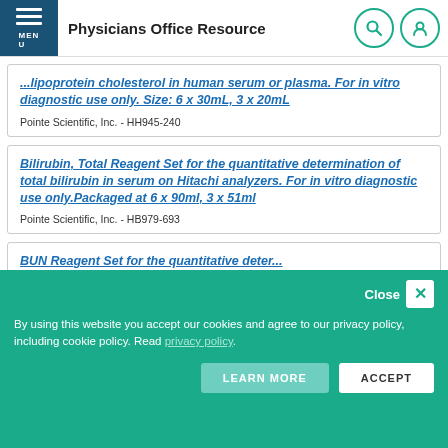Physicians Office Resource
...lipoprotein cholesterol in human serum or plasma. For in vitro diagnostic use only. Size: 6 x 30mL, 3 x 20mL
Pointe Scientific, Inc. - HH945-240
Bilirubin, Total Reagent Set for the quantitative determination of total bilirubin in serum on Hitachi analyzers. For in vitro diagnostic use only.Packaged at 6 x 90ml, 3 x 51ml
Pointe Scientific, Inc. - HB979-693
BUN Reagent Set for the...
By using this website you accept our cookies and agree to our privacy policy, including cookie policy. Read privacy policy.